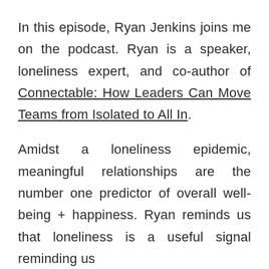In this episode, Ryan Jenkins joins me on the podcast. Ryan is a speaker, loneliness expert, and co-author of Connectable: How Leaders Can Move Teams from Isolated to All In.
Amidst a loneliness epidemic, meaningful relationships are the number one predictor of overall well-being + happiness. Ryan reminds us that loneliness is a useful signal reminding us